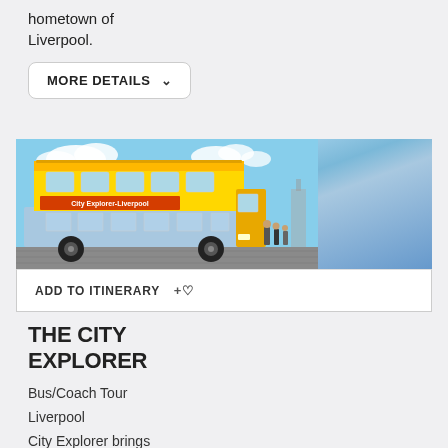hometown of Liverpool.
MORE DETAILS
[Figure (photo): A yellow City Explorer Liverpool double-decker open-top bus parked on a cobblestone area with a blue sky and clouds in the background. People visible near the bus.]
ADD TO ITINERARY
THE CITY EXPLORER
Bus/Coach Tour
Liverpool
City Explorer brings